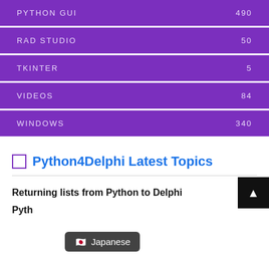PYTHON GUI 490
RAD STUDIO 50
TKINTER 5
VIDEOS 84
WINDOWS 340
Python4Delphi Latest Topics
Returning lists from Python to Delphi
Japanese
Pyth...hronization